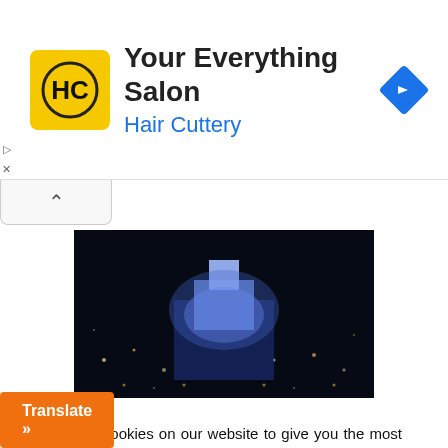[Figure (screenshot): Hair Cuttery ad banner with yellow HC logo, title 'Your Everything Salon', subtitle 'Hair Cuttery' in blue, and a blue navigation arrow diamond icon on the right]
[Figure (photo): Aerial night photo of an illuminated building/church surrounded by city lights]
We use cookies on our website to give you the most relevant experience by remembering your preferences and repeat visits. By clicking “Accept”, you consent to the use of ALL the cookies.
Do not sell my personal information.
Cookie Settings
Accept
Translate »